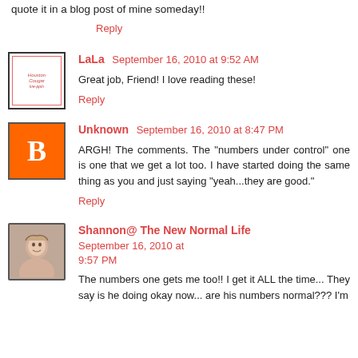quote it in a blog post of mine someday!!
Reply
LaLa  September 16, 2010 at 9:52 AM
Great job, Friend! I love reading these!
Reply
Unknown  September 16, 2010 at 8:47 PM
ARGH! The comments. The "numbers under control" one is one that we get a lot too. I have started doing the same thing as you and just saying "yeah...they are good."
Reply
Shannon@ The New Normal Life  September 16, 2010 at 9:57 PM
The numbers one gets me too!! I get it ALL the time... They say is he doing okay now... are his numbers normal??? I'm